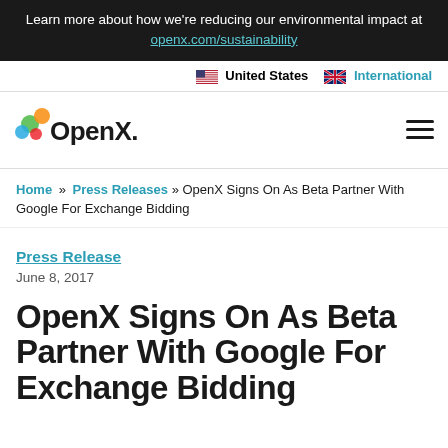Learn more about how we're reducing our environmental impact at openx.com/sustainability
United States   International
[Figure (logo): OpenX logo with colourful dots and OpenX. wordmark, plus hamburger menu icon]
Home » Press Releases » OpenX Signs On As Beta Partner With Google For Exchange Bidding
Press Release
June 8, 2017
OpenX Signs On As Beta Partner With Google For Exchange Bidding